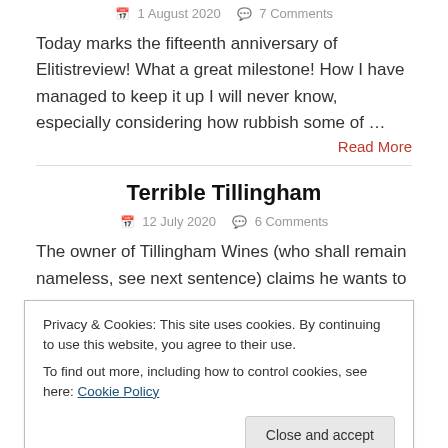1 August 2020   7 Comments
Today marks the fifteenth anniversary of Elitistreview! What a great milestone! How I have managed to keep it up I will never know, especially considering how rubbish some of …
Read More
Terrible Tillingham
12 July 2020   6 Comments
The owner of Tillingham Wines (who shall remain nameless, see next sentence) claims he wants to
Privacy & Cookies: This site uses cookies. By continuing to use this website, you agree to their use.
To find out more, including how to control cookies, see here: Cookie Policy
Close and accept
From heaven to hell